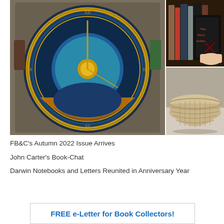[Figure (photo): Collage of three photos: a large ornate astronomical clock face with blue and gold/orange colors (Prague Orloj), a hand holding books including 'The Darcy Archive', and a woven basket bowl on a table.]
FB&C's Autumn 2022 Issue Arrives
John Carter's Book-Chat
Darwin Notebooks and Letters Reunited in Anniversary Year
FREE e-Letter for Book Collectors!